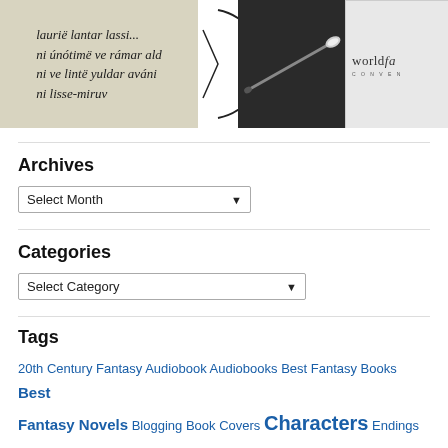[Figure (illustration): Row of images: manuscript text in italic font showing Elvish-like script ('laurië lantar lassi... ni únótimë ve rámar aldo... ni ve lintë yuldar aváni... ni lisse-miruv...'), a partial circular logo, a photo of a wand on dark background, and a partial 'worldfan' convention logo]
Archives
Select Month (dropdown)
Categories
Select Category (dropdown)
Tags
20th Century Fantasy Audiobook Audiobooks Best Fantasy Books Best Fantasy Novels Blogging Book Covers Characters Endings